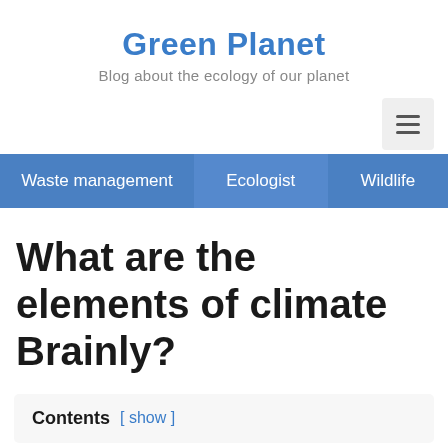Green Planet
Blog about the ecology of our planet
Waste management   Ecologist   Wildlife
What are the elements of climate Brainly?
Contents [ show ]